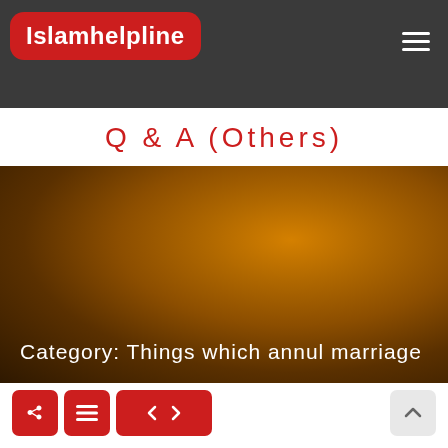Islamhelpline
Q & A (Others)
[Figure (photo): Blurred warm orange-brown bokeh background image with text overlay reading 'Category: Things which annul marriage']
Category: Things which annul marriage
He has become Muslim but his wife has not, and she is not from among the People of the Book. Is it